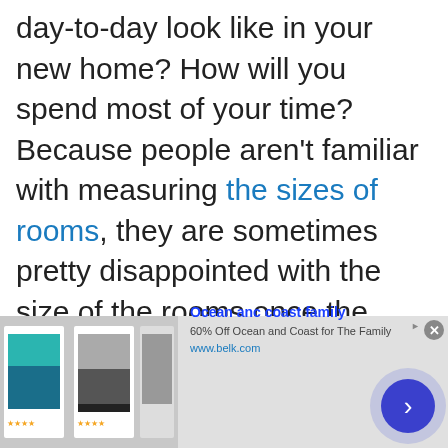day-to-day look like in your new home? How will you spend most of your time? Because people aren't familiar with measuring the sizes of rooms, they are sometimes pretty disappointed with the size of the rooms once the project is finished. Remember to leave room for the extras that
[Figure (screenshot): Advertisement banner for Ocean anc coast family - 60% Off Ocean and Coast for The Family from www.belk.com, showing swimwear product images and a blue arrow button]